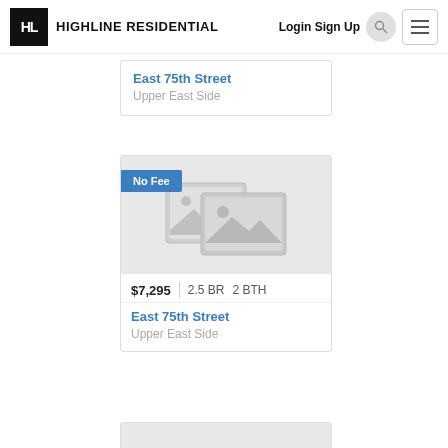HL HIGHLINE RESIDENTIAL  Login Sign Up
East 75th Street
Upper East Side
[Figure (screenshot): No Fee badge over a placeholder image (two overlapping image icons on gray background)]
$7,295   2.5 BR   2 BTH
East 75th Street
Upper East Side
[Figure (photo): Partial card at bottom, gray image area]